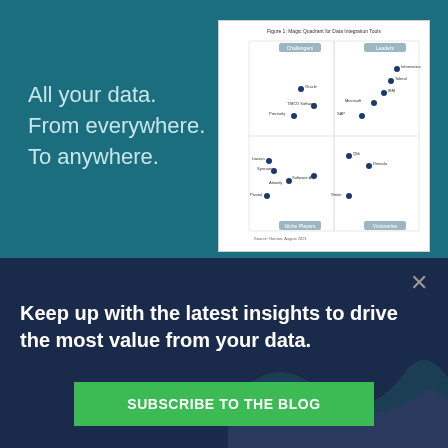All your data.
From everywhere.
To anywhere.
[Figure (other): Gartner Magic Quadrant for Data Integration Tools scatter plot showing vendor positions across Visionaries, Niche Players, Challengers, and Leaders quadrants]
×
Keep up with the latest insights to drive the most value from your data.
SUBSCRIBE TO THE BLOG